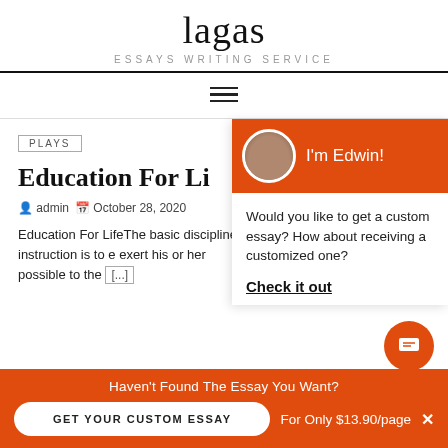lagas
ESSAYS WRITING SERVICE
[Figure (screenshot): Hamburger menu icon (three horizontal lines)]
[Figure (photo): Chat widget with Edwin avatar, orange header, and prompt text]
PLAYS
Education For Li
admin   October 28, 2020
Education For LifeThe basic disciplines instruction is to exert his or her possible to the
I'm Edwin!
Would you like to get a custom essay? How about receiving a customized one?
Check it out
Haven't Found The Essay You Want?
GET YOUR CUSTOM ESSAY
For Only $13.90/page